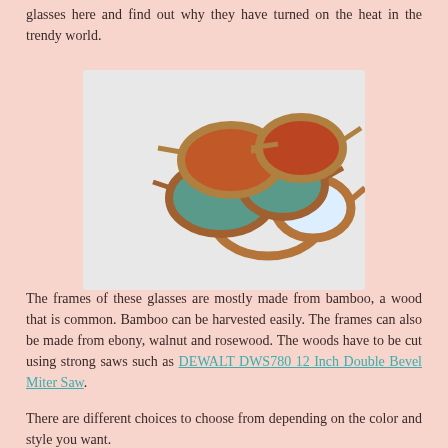glasses here and find out why they have turned on the heat in the trendy world.
[Figure (photo): Three wooden-framed eyeglasses/sunglasses with bamboo-style frames arranged in a stack, showing varying lens colors: orange-red, teal/green, and clear/white lenses, on a light background.]
The frames of these glasses are mostly made from bamboo, a wood that is common. Bamboo can be harvested easily. The frames can also be made from ebony, walnut and rosewood. The woods have to be cut using strong saws such as DEWALT DWS780 12 Inch Double Bevel Miter Saw.
There are different choices to choose from depending on the color and style you want.